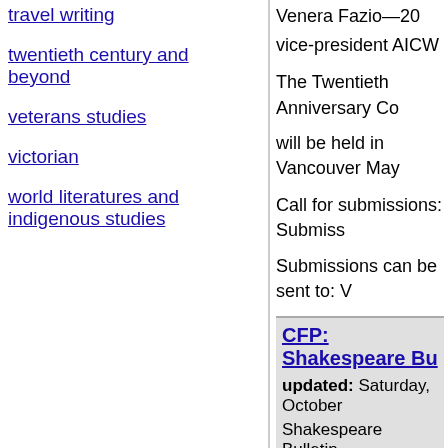travel writing
twentieth century and beyond
veterans studies
victorian
world literatures and indigenous studies
Venera Fazio—20
vice-president AICW
The Twentieth Anniversary Co…
will be held in Vancouver May…
Call for submissions: Submiss…
Submissions can be sent to: V…
CFP: Shakespeare Bu…
updated: Saturday, October…
Shakespeare Bulletin
CALL FOR SUBMISSIONS
Shakespeare Bulletin, a peer-… Shakespeare in performance,… 2006 it will be published by th… editors invite submissions on… topics. Theatre and book revi…